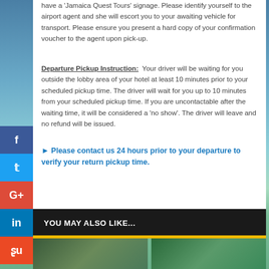have a 'Jamaica Quest Tours' signage. Please identify yourself to the airport agent and she will escort you to your awaiting vehicle for transport. Please ensure you present a hard copy of your confirmation voucher to the agent upon pick-up.
Departure Pickup Instruction: Your driver will be waiting for you outside the lobby area of your hotel at least 10 minutes prior to your scheduled pickup time. The driver will wait for you up to 10 minutes from your scheduled pickup time. If you are uncontactable after the waiting time, it will be considered a 'no show'. The driver will leave and no refund will be issued.
Please contact us 24 hours prior to your departure to verify your return pickup time.
YOU MAY ALSO LIKE...